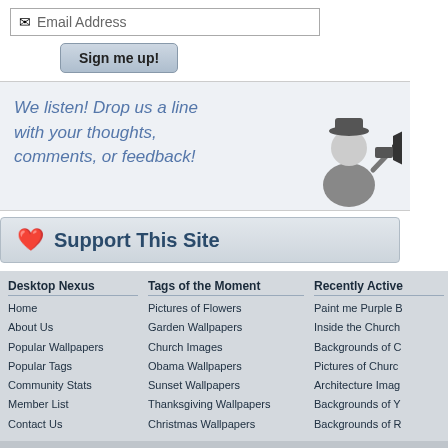[Figure (screenshot): Email address input box with envelope icon and text 'Email Address']
[Figure (screenshot): Button labeled 'Sign me up!']
We listen! Drop us a line with your thoughts, comments, or feedback!
[Figure (illustration): Black and white illustration of a man holding a megaphone]
Support This Site
Desktop Nexus
Home
About Us
Popular Wallpapers
Popular Tags
Community Stats
Member List
Contact Us
Tags of the Moment
Pictures of Flowers
Garden Wallpapers
Church Images
Obama Wallpapers
Sunset Wallpapers
Thanksgiving Wallpapers
Christmas Wallpapers
Recently Active
Paint me Purple B
Inside the Church
Backgrounds of C
Pictures of Churc
Architecture Imag
Backgrounds of Y
Backgrounds of R
Privacy Policy | Terms of Service | Partnerships | DMCA Copyright Violation
© Desktop Nexus - All rights reserved.
Page rendered with 7 queries (and 0 cached) in 0.077 seconds from server 47.